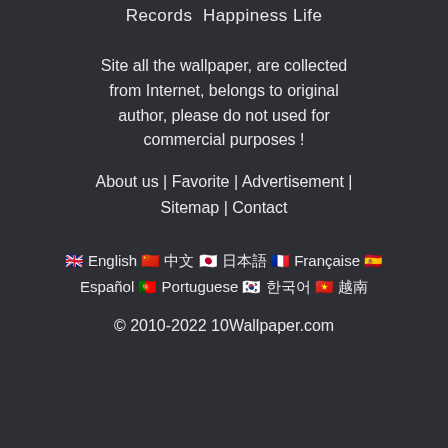Records  Happiness Life
Site all the wallpaper, are collected from Internet, belongs to original author, please do not used for commercial purposes !
About us | Favorite | Advertisement | Sitemap | Contact
🇬🇧 English 🇨🇳 中文 🇯🇵 日本語 🇫🇷 Française 🇪🇸 Español 🇵🇹 Portuguese 🇰🇷 한국어 🇻🇳 越南
© 2010-2022 10Wallpaper.com